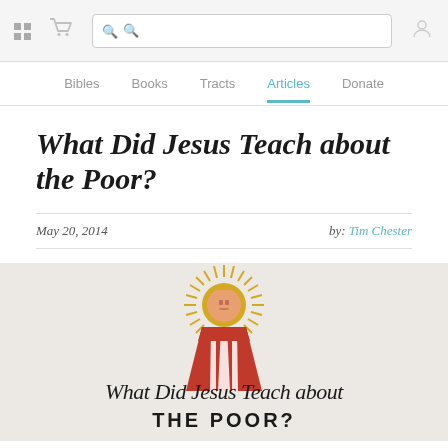Navigation bar with grid icon, cart icon, search box, and user icon
Bibles | Books | Tracts | Articles (active) | Donate
What Did Jesus Teach about the Poor?
May 20, 2014   by: Tim Chester
[Figure (illustration): Religious illustration showing a stylized figure of Jesus with a golden halo/sunburst, red robes, on a beige background, with script text 'What Did Jesus Teach about' and bold text 'THE POOR?' below]